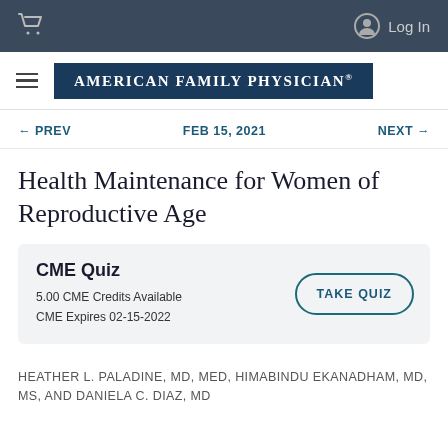Log In
[Figure (logo): American Family Physician logo badge in dark blue with white uppercase serif text]
← PREV   FEB 15, 2021   NEXT →
Health Maintenance for Women of Reproductive Age
CME Quiz
5.00 CME Credits Available
CME Expires 02-15-2022
TAKE QUIZ
HEATHER L. PALADINE, MD, MEd, HIMABINDU EKANADHAM, MD, MS, AND DANIELA C. DIAZ, MD